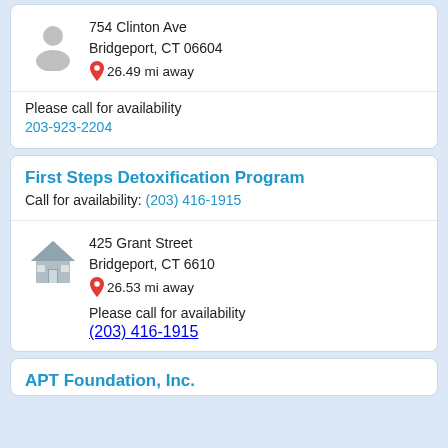754 Clinton Ave
Bridgeport, CT 06604
26.49 mi away
Please call for availability
203-923-2204
First Steps Detoxification Program
Call for availability: (203) 416-1915
425 Grant Street
Bridgeport, CT 6610
26.53 mi away
Please call for availability
(203) 416-1915
APT Foundation, Inc.